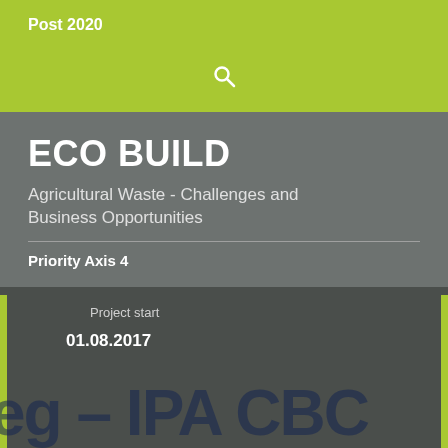Post 2020
ECO BUILD
Agricultural Waste - Challenges and Business Opportunities
Priority Axis 4
Project start
01.08.2017
eg – IPA CBC
Project end